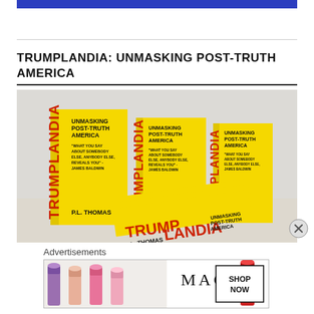[Figure (other): Blue banner bar at top of page]
TRUMPLANDIA: UNMASKING POST-TRUTH AMERICA
[Figure (photo): Photo of multiple copies of the book 'Trumplandia: Unmasking Post-Truth America' by P.L. Thomas, with yellow covers and red title text, arranged standing upright and stacked on a surface against a white brick wall background.]
Advertisements
[Figure (other): Advertisement banner for MAC cosmetics showing colorful lipsticks on the left and MAC logo with SHOP NOW button on the right]